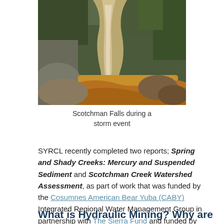[Figure (photo): Aerial or overhead photo of Scotchman Falls during a storm event, showing a waterfall with brownish-orange sediment-laden water flowing through rocky terrain surrounded by green forest.]
Scotchman Falls during a storm event
SYRCL recently completed two reports; Spring and Shady Creeks: Mercury and Suspended Sediment and Scotchman Creek Watershed Assessment, as part of work that was funded by the Cosumnes American Bear Yuba (CABY) Integrated Regional Water Management Group in partnership with The Sierra Fund and funded by California Department of Water Resources and The Rose Foundation for Communities and the Environment.
What is Hydraulic Mining? Why are we